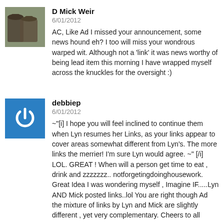[Figure (photo): Avatar photo of D Mick Weir showing two people in hats outdoors]
D Mick Weir
6/01/2012
AC, Like Ad I missed your announcement, some news hound eh? I too will miss your wondrous warped wit. Although not a 'link' it was news worthy of being lead item this morning I have wrapped myself across the knuckles for the oversight :)
[Figure (logo): Blue square avatar with white power button icon for debbiep]
debbiep
6/01/2012
~"[i] I hope you will feel inclined to continue them when Lyn resumes her Links, as your links appear to cover areas somewhat different from Lyn's. The more links the merrier! I'm sure Lyn would agree. ~" [/i] LOL. GREAT ! When will a person get time to eat , drink and zzzzzzz.. notforgetingdoinghousework. Great Idea I was wondering myself , Imagine IF.....Lyn AND Mick posted links..lol You are right though Ad the mixture of links by Lyn and Mick are slightly different , yet very complementary. Cheers to all